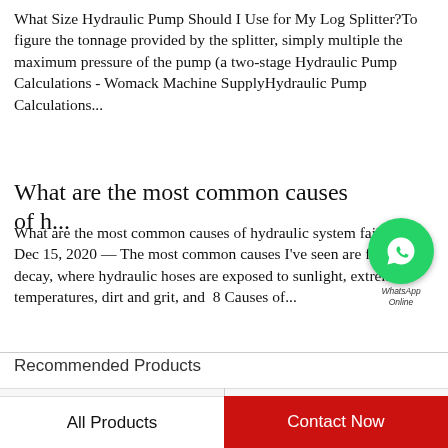What Size Hydraulic Pump Should I Use for My Log Splitter?To figure the tonnage provided by the splitter, simply multiple the maximum pressure of the pump (a two-stage Hydraulic Pump Calculations - Womack Machine SupplyHydraulic Pump Calculations...
What are the most common causes of h...
What are the most common causes of hydraulic system failures?Dec 15, 2020 — The most common causes I've seen are from decay, where hydraulic hoses are exposed to sunlight, extreme temperatures, dirt and grit, and  8 Causes of...
Recommended Products
[Figure (other): WhatsApp Online contact badge with green circle and phone icon]
All Products
Contact Now